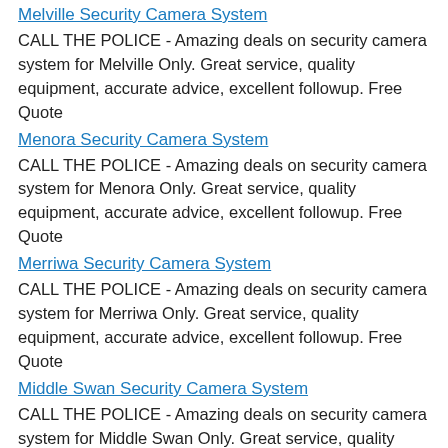Melville Security Camera System
CALL THE POLICE - Amazing deals on security camera system for Melville Only. Great service, quality equipment, accurate advice, excellent followup. Free Quote
Menora Security Camera System
CALL THE POLICE - Amazing deals on security camera system for Menora Only. Great service, quality equipment, accurate advice, excellent followup. Free Quote
Merriwa Security Camera System
CALL THE POLICE - Amazing deals on security camera system for Merriwa Only. Great service, quality equipment, accurate advice, excellent followup. Free Quote
Middle Swan Security Camera System
CALL THE POLICE - Amazing deals on security camera system for Middle Swan Only. Great service, quality equipment, accurate advice, excellent followup.